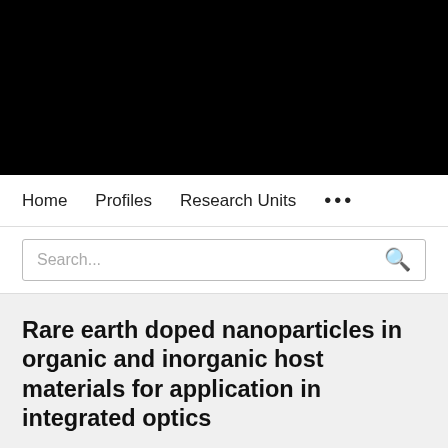[Figure (logo): University of Twente logo — white bold text on black background reading UNIVERSITY OF TWENTE.]
Home   Profiles   Research Units   ...
Search...
Rare earth doped nanoparticles in organic and inorganic host materials for application in integrated optics
R. Dekker, L.T.H. Hilderink, Mart Diemeer, J.W. Stouwdam,